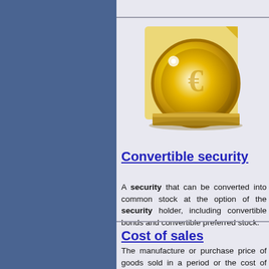[Figure (illustration): Gold coin illustration on a yellow/gold pedestal background, tilted at an angle with light reflection]
Convertible security
A security that can be converted into common stock at the option of the security holder, including convertible bonds and convertible preferred stock.
Cost of sales
The manufacture or purchase price of goods sold in a period or the cost of providing a service.